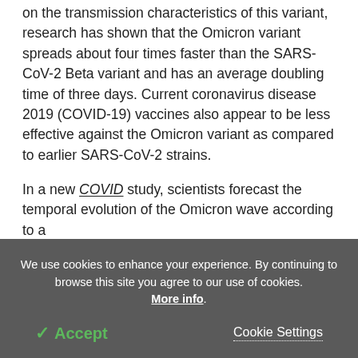on the transmission characteristics of this variant, research has shown that the Omicron variant spreads about four times faster than the SARS-CoV-2 Beta variant and has an average doubling time of three days. Current coronavirus disease 2019 (COVID-19) vaccines also appear to be less effective against the Omicron variant as compared to earlier SARS-CoV-2 strains.
In a new COVID study, scientists forecast the temporal evolution of the Omicron wave according to a
We use cookies to enhance your experience. By continuing to browse this site you agree to our use of cookies. More info.